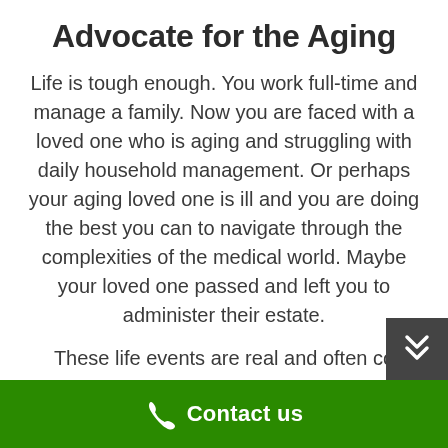Advocate for the Aging
Life is tough enough. You work full-time and manage a family. Now you are faced with a loved one who is aging and struggling with daily household management. Or perhaps your aging loved one is ill and you are doing the best you can to navigate through the complexities of the medical world. Maybe your loved one passed and left you to administer their estate.
These life events are real and often co
Contact us